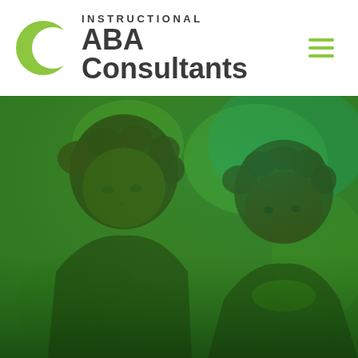[Figure (logo): Instructional ABA Consultants logo with green globe/leaf icon on the left and company name on the right, plus hamburger menu icon]
[Figure (photo): Two young Black children photographed with a green color overlay tint; a girl in the foreground on the left and a boy on the right, both looking at the camera with a blurred green background]